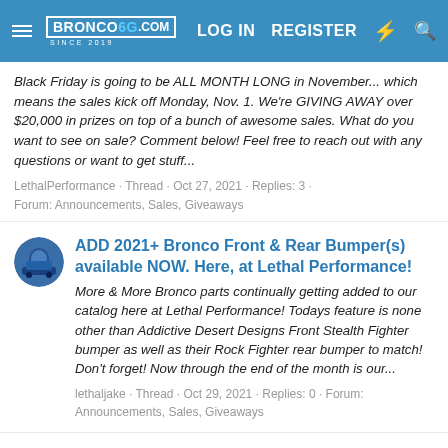BRONCO6G.COM SINCE 2019 | LOG IN | REGISTER
Black Friday is going to be ALL MONTH LONG in November... which means the sales kick off Monday, Nov. 1. We're GIVING AWAY over $20,000 in prizes on top of a bunch of awesome sales. What do you want to see on sale? Comment below! Feel free to reach out with any questions or want to get stuff...
LethalPerformance · Thread · Oct 27, 2021 · Replies: 3 · Forum: Announcements, Sales, Giveaways
ADD 2021+ Bronco Front & Rear Bumper(s) available NOW. Here, at Lethal Performance!
More & More Bronco parts continually getting added to our catalog here at Lethal Performance! Todays feature is none other than Addictive Desert Designs Front Stealth Fighter bumper as well as their Rock Fighter rear bumper to match! Don't forget! Now through the end of the month is our...
lethaljake · Thread · Oct 29, 2021 · Replies: 0 · Forum: Announcements, Sales, Giveaways